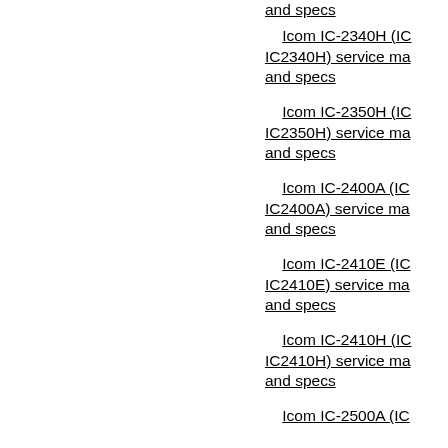and specs
Icom IC-2340H (IC IC2340H) service ma and specs
Icom IC-2350H (IC IC2350H) service ma and specs
Icom IC-2400A (IC IC2400A) service ma and specs
Icom IC-2410E (IC IC2410E) service ma and specs
Icom IC-2410H (IC IC2410H) service ma and specs
Icom IC-2500A (IC IC2500A) service ma and specs
Icom IC-2500E (IC IC2500E) service ma and specs
Icom IC-2700H (IC IC2700H) service ma and specs
Icom IC-2710H (IC IC2710H) service ma and specs
Icom IC-2720H (IC IC2720H) service ma and specs
Icom IC-2725E (IC IC2725E) service ma